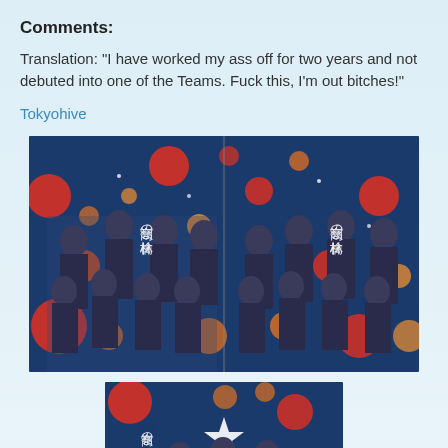Comments:
Translation: "I have worked my ass off for two years and not debuted into one of the Teams. Fuck this, I'm out bitches!"
Tokyohive
[Figure (photo): Two side-by-side images of Japanese idol group members in school uniforms on a dark blue background with colorful circles, with Japanese text overlay]
[Figure (photo): Partial/cropped image of same Japanese idol group on dark blue background with colorful circles and Japanese text overlay]